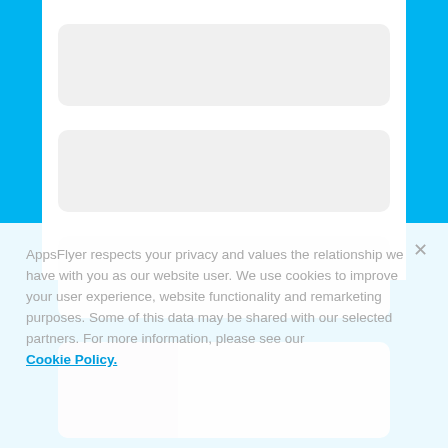[Figure (screenshot): Four skeleton loading placeholder cards on white background with blue side panels. First three cards are fully visible gray rounded rectangles. The fourth card is partially visible and has a pinkish-purple left accent section.]
AppsFlyer respects your privacy and values the relationship we have with you as our website user. We use cookies to improve your user experience, website functionality and remarketing purposes. Some of this data may be shared with our selected partners. For more information, please see our Cookie Policy.